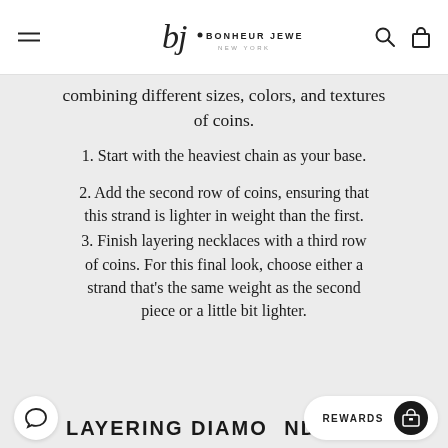bj BONHEUR JEWELRY NEW YORK
combining different sizes, colors, and textures of coins.
1. Start with the heaviest chain as your base.
2. Add the second row of coins, ensuring that this strand is lighter in weight than the first.
3. Finish layering necklaces with a third row of coins. For this final look, choose either a strand that's the same weight as the second piece or a little bit lighter.
LAYERING DIAMONDS